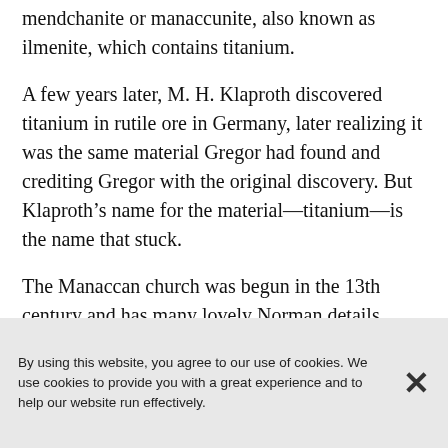mendchanite or manaccunite, also known as ilmenite, which contains titanium.
A few years later, M. H. Klaproth discovered titanium in rutile ore in Germany, later realizing it was the same material Gregor had found and crediting Gregor with the original discovery. But Klaproth’s name for the material—titanium—is the name that stuck.
The Manaccan church was begun in the 13th century and has many lovely Norman details. Here are Chris and Derek outside the entrance
By using this website, you agree to our use of cookies. We use cookies to provide you with a great experience and to help our website run effectively.